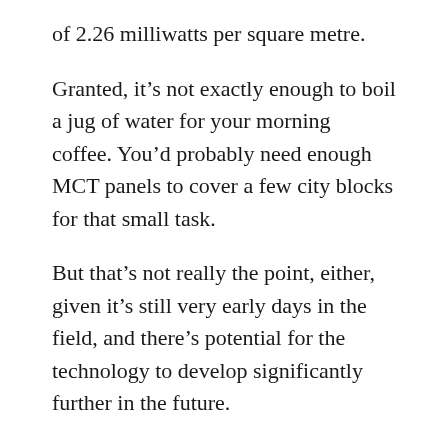of 2.26 milliwatts per square metre.
Granted, it’s not exactly enough to boil a jug of water for your morning coffee. You’d probably need enough MCT panels to cover a few city blocks for that small task.
But that’s not really the point, either, given it’s still very early days in the field, and there’s potential for the technology to develop significantly further in the future.
“Right now, the demonstration we have with the thermoradiative diode is relatively very low power. One of the challenges was actually detecting it,” says the study’s lead researcher, Ned